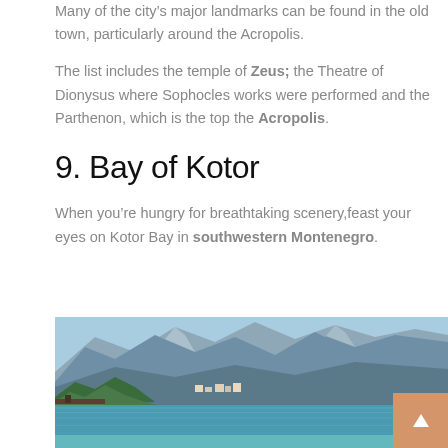Many of the city’s major landmarks can be found in the old town, particularly around the Acropolis.
The list includes the temple of Zeus; the Theatre of Dionysus where Sophocles works were performed and the Parthenon, which is the top the Acropolis.
9. Bay of Kotor
When you’re hungry for breathtaking scenery,feast your eyes on Kotor Bay in southwestern Montenegro.
[Figure (photo): Panoramic photograph of Kotor Bay in Montenegro showing clear turquoise water in the foreground, a small coastal town and dock at the water’s edge, and large rocky mountains rising steeply in the background under a blue sky.]